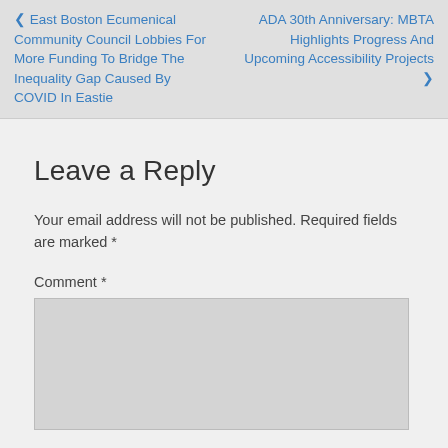❮ East Boston Ecumenical Community Council Lobbies For More Funding To Bridge The Inequality Gap Caused By COVID In Eastie
ADA 30th Anniversary: MBTA Highlights Progress And Upcoming Accessibility Projects ❯
Leave a Reply
Your email address will not be published. Required fields are marked *
Comment *